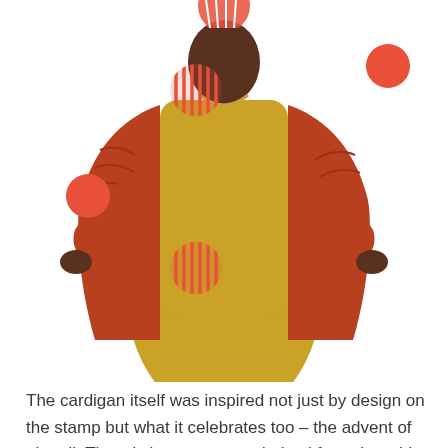[Figure (photo): A person wearing a rust/red chunky knit cardigan over a mustard yellow maxi dress, with decorative yarn ball and circle graphics around them on a white background.]
The cardigan itself was inspired not just by design on the stamp but what it celebrates too – the advent of airmail. The stitch pattern was derived from the grid in the background and I wanted to use a single colour like the stamp, so instead of colourwork, the grid is made with eyelets – which makes this cardigan not too warm even though it's knit in wool, perfect for spring. I also wanted to reference the aeronautical them in a small way, so